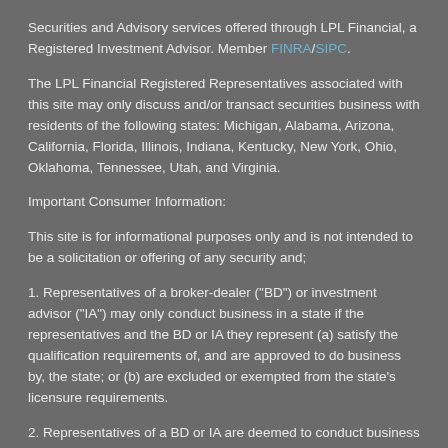Securities and Advisory services offered through LPL Financial, a Registered Investment Advisor. Member FINRA/SIPC.
The LPL Financial Registered Representatives associated with this site may only discuss and/or transact securities business with residents of the following states: Michigan, Alabama, Arizona, California, Florida, Illinois, Indiana, Kentucky, New York, Ohio, Oklahoma, Tennessee, Utah, and Virginia.
Important Consumer Information:
This site is for informational purposes only and is not intended to be a solicitation or offering of any security and;
1. Representatives of a broker-dealer ("BD") or investment advisor ("IA") may only conduct business in a state if the representatives and the BD or IA they represent (a) satisfy the qualification requirements of, and are approved to do business by, the state; or (b) are excluded or exempted from the state's licensure requirements.
2. Representatives of a BD or IA are deemed to conduct business in a state to the extent that they provide individualized responses to investor